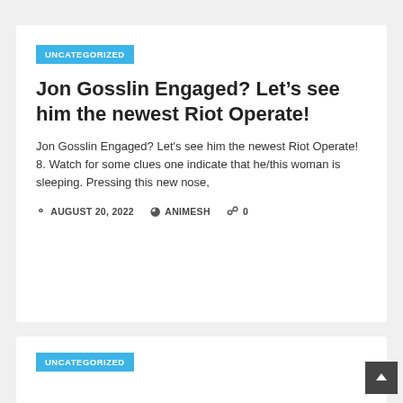UNCATEGORIZED
Jon Gosslin Engaged? Let’s see him the newest Riot Operate!
Jon Gosslin Engaged? Let's see him the newest Riot Operate!
8. Watch for some clues one indicate that he/this woman is sleeping. Pressing this new nose,
AUGUST 20, 2022   ANIMESH   0
UNCATEGORIZED